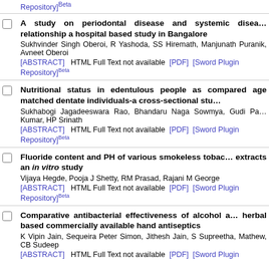Repository]Beta
A study on periodontal disease and systemic disease relationship a hospital based study in Bangalore
Sukhvinder Singh Oberoi, R Yashoda, SS Hiremath, Manjunath Puranik, Avneet Oberoi
[ABSTRACT] HTML Full Text not available [PDF] [Sword Plugin Repository]Beta
Nutritional status in edentulous people as compared age matched dentate individuals-a cross-sectional study
Sukhabogi Jagadeeswara Rao, Bhandaru Naga Sowmya, Gudi Pa Kumar, HP Srinath
[ABSTRACT] HTML Full Text not available [PDF] [Sword Plugin Repository]Beta
Fluoride content and PH of various smokeless tobacco extracts an in vitro study
Vijaya Hegde, Pooja J Shetty, RM Prasad, Rajani M George
[ABSTRACT] HTML Full Text not available [PDF] [Sword Plugin Repository]Beta
Comparative antibacterial effectiveness of alcohol and herbal based commercially available hand antiseptics
K Vipin Jain, Sequeira Peter Simon, Jithesh Jain, S Supreetha, Mathew, CB Sudeep
[ABSTRACT] HTML Full Text not available [PDF] [Sword Plugin